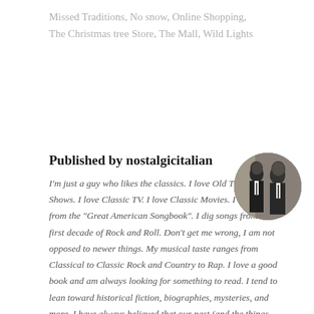Missed Traditions,  No snow,  Online Shopping,  The Christmas tree Store,  The Mall,  Wild Lights
Published by nostalgicitalian
[Figure (photo): Black and white circular portrait photo of two men in suits]
I'm just a guy who likes the classics. I love Old Time Radio Shows. I love Classic TV. I love Classic Movies. I love songs from the "Great American Songbook". I dig songs from the first decade of Rock and Roll. Don't get me wrong, I am not opposed to newer things. My musical taste ranges from Classical to Classic Rock and Country to Rap. I love a good book and am always looking for something to read. I tend to lean toward historical fiction, biographies, mysteries, and more. I have always believed that our past (and the things we've experienced in it) make us who we are today. That being said, after reading through some old